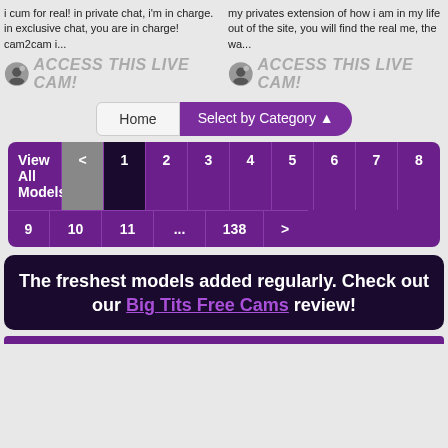i cum for real! in private chat, i'm in charge. in exclusive chat, you are in charge! cam2cam i...
[Figure (infographic): ACCESS THIS LIVE CAM! button with webcam icon]
my privates extension of how i am in my life out of the site, you will find the real me, the wa...
[Figure (infographic): ACCESS THIS LIVE CAM! button with webcam icon]
Home | Select by Category
| View All Models | < | 1 | 2 | 3 | 4 | 5 | 6 | 7 | 8 |
| --- | --- | --- | --- | --- | --- | --- | --- | --- | --- |
| 9 | 10 | 11 | ... | 138 | > |
The freshest models added regularly. Check out our Big Tits Free Cams review!